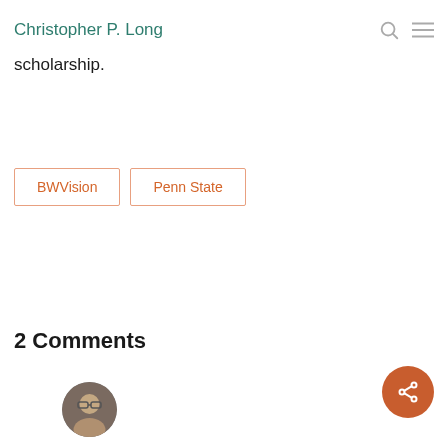Christopher P. Long
scholarship.
BWVision  Penn State
2 Comments
[Figure (photo): Circular avatar photo of a person]